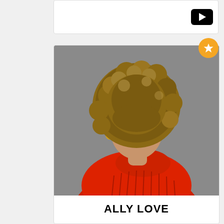[Figure (other): Video player card with black play button on white background]
[Figure (photo): Portrait photo of Ally Love, a woman with large curly afro hair, wearing a bright red/orange turtleneck sweater, smiling, against a grey background. A gold star badge is in the top right corner of the card.]
ALLY LOVE